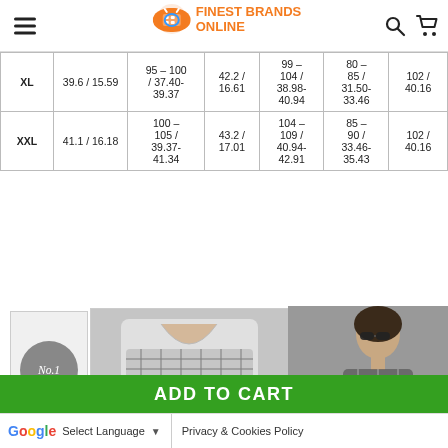Finest Brands Online
| Size | Shoulder | Chest | Sleeve | Bust | Waist | Length |
| --- | --- | --- | --- | --- | --- | --- |
| XL | 39.6 / 15.59 | 95 – 100 / 37.40-39.37 | 42.2 / 16.61 | 99 – 104 / 38.98-40.94 | 80 – 85 / 31.50-33.46 | 102 / 40.16 |
| XXL | 41.1 / 16.18 | 100 – 105 / 39.37-41.34 | 43.2 / 17.01 | 104 – 109 / 40.94-42.91 | 85 – 90 / 33.46-35.43 | 102 / 40.16 |
[Figure (photo): Thumbnail with No.1 badge, product image of black-and-white patterned top, and model wearing same top]
ADD TO CART
Select Language | Privacy & Cookies Policy